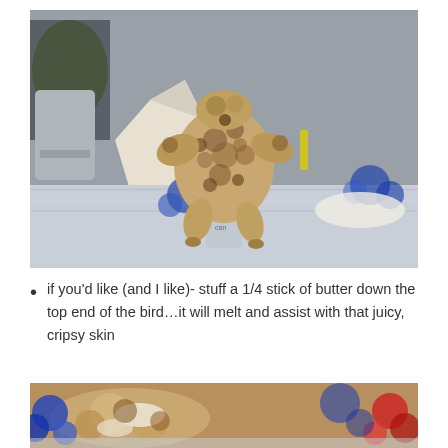[Figure (photo): A whole roasted chicken standing upright on a beer can on a foil-covered surface, with blue decorations and other items in the background.]
if you'd like (and I like)- stuff a 1/4 stick of butter down the top end of the bird…it will melt and assist with that juicy, cripsy skin
[Figure (photo): Close-up of cooked chicken pieces with blue and red decorations visible in the background.]